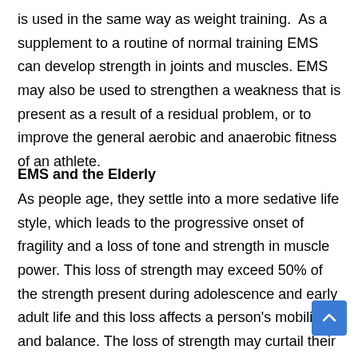is used in the same way as weight training.  As a supplement to a routine of normal training EMS can develop strength in joints and muscles. EMS may also be used to strengthen a weakness that is present as a result of a residual problem, or to improve the general aerobic and anaerobic fitness of an athlete.
EMS and the Elderly
As people age, they settle into a more sedative life style, which leads to the progressive onset of fragility and a loss of tone and strength in muscle power. This loss of strength may exceed 50% of the strength present during adolescence and early adult life and this loss affects a person's mobility and balance. The loss of strength may curtail their social and other home activities.  Loss of balance can also lead to falls and other injuries, which could be as serious as a broken hip. EMS applied to the large hip, buttock and thigh muscles can reduce the onset of fragility, by enabling the elderly to regain the tone and strength of these anti-gravity teams of muscles.